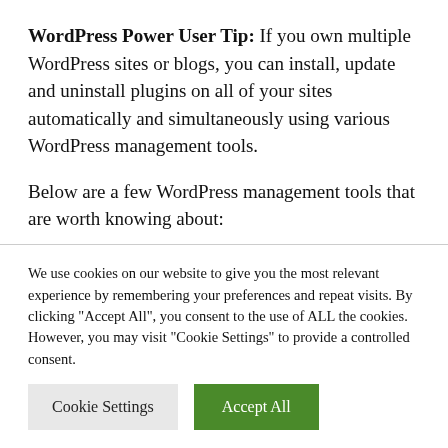WordPress Power User Tip: If you own multiple WordPress sites or blogs, you can install, update and uninstall plugins on all of your sites automatically and simultaneously using various WordPress management tools.
Below are a few WordPress management tools that are worth knowing about:
We use cookies on our website to give you the most relevant experience by remembering your preferences and repeat visits. By clicking "Accept All", you consent to the use of ALL the cookies. However, you may visit "Cookie Settings" to provide a controlled consent.